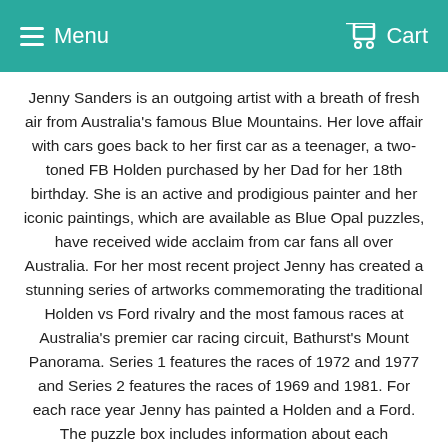Menu  Cart
Jenny Sanders is an outgoing artist with a breath of fresh air from Australia's famous Blue Mountains. Her love affair with cars goes back to her first car as a teenager, a two-toned FB Holden purchased by her Dad for her 18th birthday. She is an active and prodigious painter and her iconic paintings, which are available as Blue Opal puzzles, have received wide acclaim from car fans all over Australia. For her most recent project Jenny has created a stunning series of artworks commemorating the traditional Holden vs Ford rivalry and the most famous races at Australia's premier car racing circuit, Bathurst's Mount Panorama. Series 1 features the races of 1972 and 1977 and Series 2 features the races of 1969 and 1981. For each race year Jenny has painted a Holden and a Ford. The puzzle box includes information about each memorable race and details of the placement of the featured cars, drivers, teams and race times.